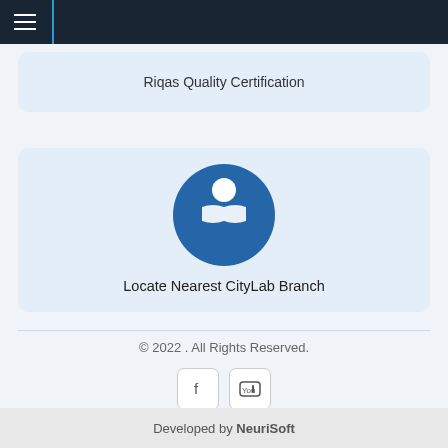≡ (navigation menu bar)
Riqas Quality Certification
[Figure (illustration): Blue circle with white location pin/map icon]
Locate Nearest CityLab Branch
© 2022 . All Rights Reserved.
[Figure (other): Social media icons: Facebook and YouTube buttons]
Developed by NeuriSoft